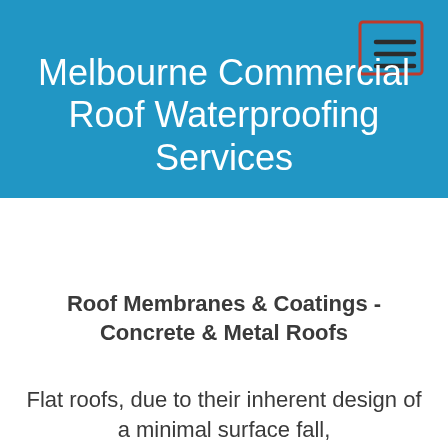[Figure (logo): Menu/hamburger icon in top right corner of blue header, consisting of a square outline with three horizontal lines inside it]
Melbourne Commercial Roof Waterproofing Services
Roof Membranes & Coatings - Concrete & Metal Roofs
Flat roofs, due to their inherent design of a minimal surface fall,